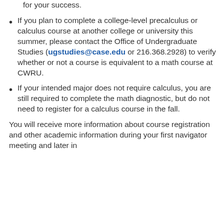for your success.
If you plan to complete a college-level precalculus or calculus course at another college or university this summer, please contact the Office of Undergraduate Studies (ugstudies@case.edu or 216.368.2928) to verify whether or not a course is equivalent to a math course at CWRU.
If your intended major does not require calculus, you are still required to complete the math diagnostic, but do not need to register for a calculus course in the fall.
You will receive more information about course registration and other academic information during your first navigator meeting and later in